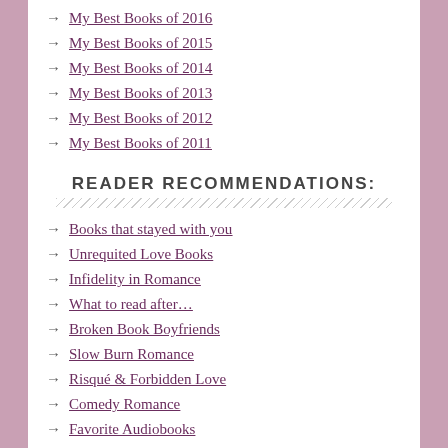My Best Books of 2016
My Best Books of 2015
My Best Books of 2014
My Best Books of 2013
My Best Books of 2012
My Best Books of 2011
READER RECOMMENDATIONS:
Books that stayed with you
Unrequited Love Books
Infidelity in Romance
What to read after…
Broken Book Boyfriends
Slow Burn Romance
Risqué & Forbidden Love
Comedy Romance
Favorite Audiobooks
Authors' Favorite Books
Readers' Top 2015 Favs